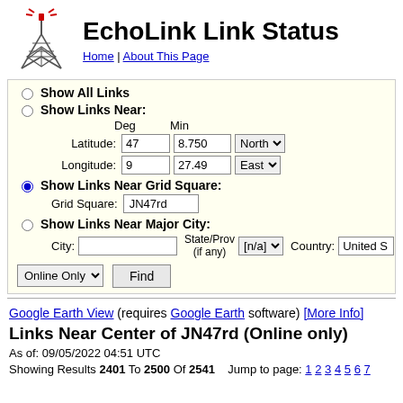EchoLink Link Status
Home | About This Page
Show All Links
Show Links Near:
Latitude: Deg 47 Min 8.750 North
Longitude: Deg 9 Min 27.49 East
Show Links Near Grid Square:
Grid Square: JN47rd
Show Links Near Major City:
City:  State/Prov (if any): [n/a]  Country: United S
Online Only  Find
Google Earth View (requires Google Earth software) [More Info]
Links Near Center of JN47rd (Online only)
As of: 09/05/2022 04:51 UTC
Showing Results 2401 To 2500 Of 2541   Jump to page: 1 2 3 4 5 6 7